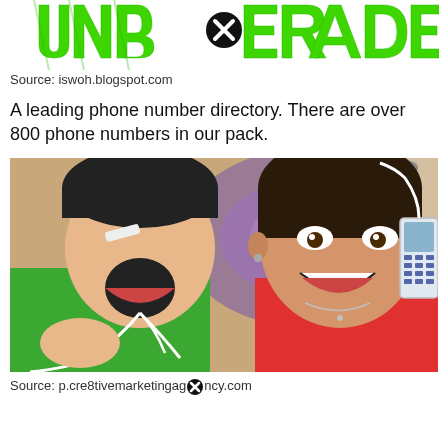[Figure (logo): Green graffiti-style logo text reading 'UNUPGRADE' with a black circled X icon overlaid, on white background]
Source: iswoh.blogspot.com
A leading phone number directory. There are over 800 phone numbers in our pack.
[Figure (photo): Two people making expressive faces holding old mobile phone with white cables/earphones. Man on left in green shirt with mouth open wide, woman on right in red top smiling broadly. Colorful tapestry in background.]
Source: p.cre8tivemarketingagency.com